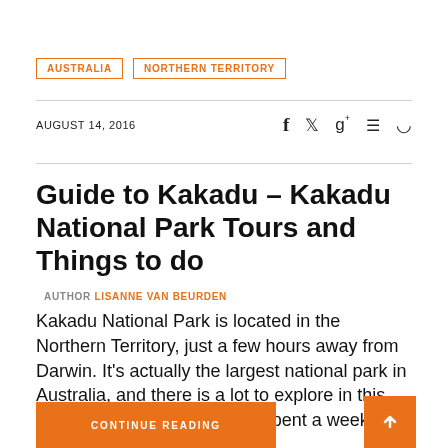AUSTRALIA
NORTHERN TERRITORY
AUGUST 14, 2016
Guide to Kakadu – Kakadu National Park Tours and Things to do
AUTHOR LISANNE VAN BEURDEN
Kakadu National Park is located in the Northern Territory, just a few hours away from Darwin. It's actually the largest national park in Australia, and there is a lot to explore in this natural wilderness park. We spent a week in…
CONTINUE READING